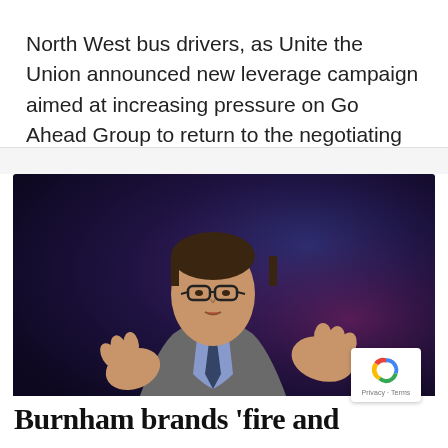North West bus drivers, as Unite the Union announced new leverage campaign aimed at increasing pressure on Go Ahead Group to return to the negotiating table.
[Figure (photo): A man in a grey suit and glasses speaking at an event, gesturing with both hands, against a dark blue and purple background.]
Burnham brands 'fire and